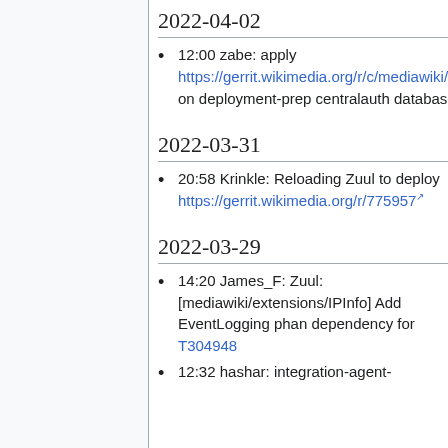2022-04-02
12:00 zabe: apply https://gerrit.wikimedia.org/r/c/mediawiki/extensions/CentralAuth/+/773903 on deployment-prep centralauth databases
2022-03-31
20:58 Krinkle: Reloading Zuul to deploy https://gerrit.wikimedia.org/r/775957
2022-03-29
14:20 James_F: Zuul: [mediawiki/extensions/IPInfo] Add EventLogging phan dependency for T304948
12:32 hashar: integration-agent-